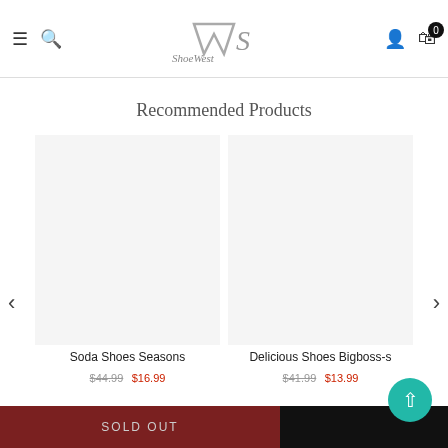ShoeWest — navigation header with menu, search, logo, user and cart icons
Recommended Products
[Figure (other): Product card image placeholder for Soda Shoes Seasons]
Soda Shoes Seasons
$44.99  $16.99
[Figure (other): Product card image placeholder for Delicious Shoes Bigboss-s]
Delicious Shoes Bigboss-s
$41.99  $13.99
SOLD OUT